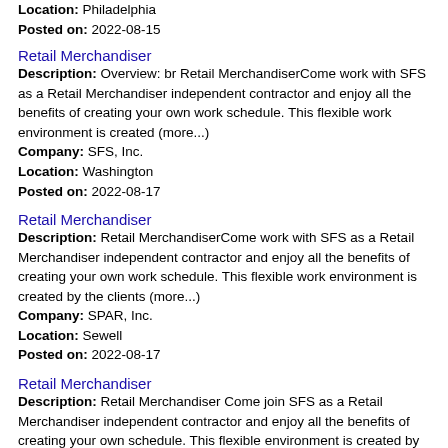Location: Philadelphia
Posted on: 2022-08-15
Retail Merchandiser
Description: Overview: br Retail MerchandiserCome work with SFS as a Retail Merchandiser independent contractor and enjoy all the benefits of creating your own work schedule. This flexible work environment is created (more...)
Company: SFS, Inc.
Location: Washington
Posted on: 2022-08-17
Retail Merchandiser
Description: Retail MerchandiserCome work with SFS as a Retail Merchandiser independent contractor and enjoy all the benefits of creating your own work schedule. This flexible work environment is created by the clients (more...)
Company: SPAR, Inc.
Location: Sewell
Posted on: 2022-08-17
Retail Merchandiser
Description: Retail Merchandiser Come join SFS as a Retail Merchandiser independent contractor and enjoy all the benefits of creating your own schedule. This flexible environment is created by the clients we service, (more...)
Company: SFS, Inc.
Location: Philadelphia